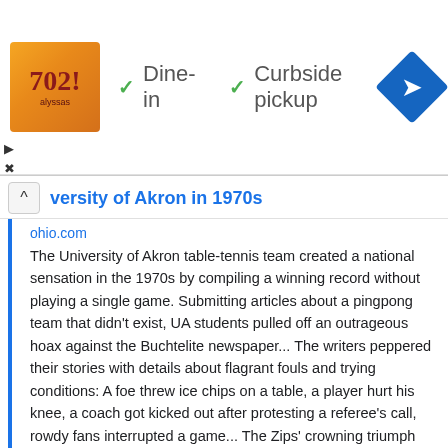[Figure (infographic): Advertisement banner showing a restaurant logo (orange/brown square with stylized text), checkmarks next to 'Dine-in' and 'Curbside pickup' options, and a blue diamond-shaped navigation arrow icon on the right.]
versity of Akron in 1970s
ohio.com
The University of Akron table-tennis team created a national sensation in the 1970s by compiling a winning record without playing a single game. Submitting articles about a pingpong team that didn't exist, UA students pulled off an outrageous hoax against the Buchtelite newspaper... The writers peppered their stories with details about flagrant fouls and trying conditions: A foe threw ice chips on a table, a player hurt his knee, a coach got kicked out after protesting a referee's call, rowdy fans interrupted a game... The Zips' crowning triumph was at the fictional Northwestern Open Table Tennis Tournament in Evanston, Ill., where UA defeated Ohio University and Notre Dame while a TV crew supposedly filmed the event for ABC's Wide World of Sports. The Buchtelite published a 41-inch article about the title — and it overshadowed March Madness...